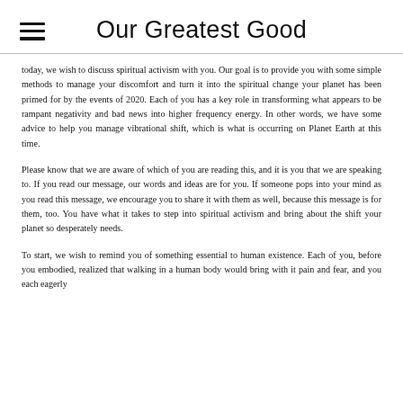Our Greatest Good
today, we wish to discuss spiritual activism with you. Our goal is to provide you with some simple methods to manage your discomfort and turn it into the spiritual change your planet has been primed for by the events of 2020. Each of you has a key role in transforming what appears to be rampant negativity and bad news into higher frequency energy. In other words, we have some advice to help you manage vibrational shift, which is what is occurring on Planet Earth at this time.
Please know that we are aware of which of you are reading this, and it is you that we are speaking to. If you read our message, our words and ideas are for you. If someone pops into your mind as you read this message, we encourage you to share it with them as well, because this message is for them, too. You have what it takes to step into spiritual activism and bring about the shift your planet so desperately needs.
To start, we wish to remind you of something essential to human existence. Each of you, before you embodied, realized that walking in a human body would bring with it pain and fear, and you each eagerly